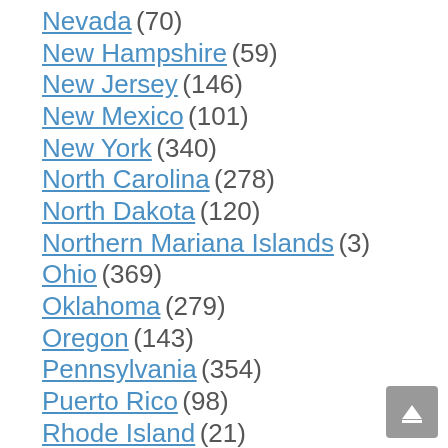Nevada (70)
New Hampshire (59)
New Jersey (146)
New Mexico (101)
New York (340)
North Carolina (278)
North Dakota (120)
Northern Mariana Islands (3)
Ohio (369)
Oklahoma (279)
Oregon (143)
Pennsylvania (354)
Puerto Rico (98)
Rhode Island (21)
South Carolina (144)